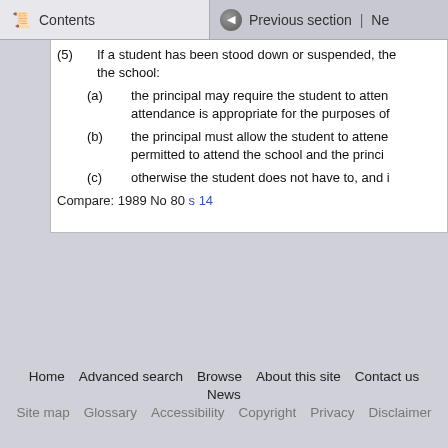Contents | Previous section | Ne...
(5) If a student has been stood down or suspended, the school:
(a) the principal may require the student to attend... attendance is appropriate for the purposes of
(b) the principal must allow the student to attend... permitted to attend the school and the princi
(c) otherwise the student does not have to, and i
Compare: 1989 No 80 s 14
Home   Advanced search   Browse   About this site   Contact us   News
Site map   Glossary   Accessibility   Copyright   Privacy   Disclaimer